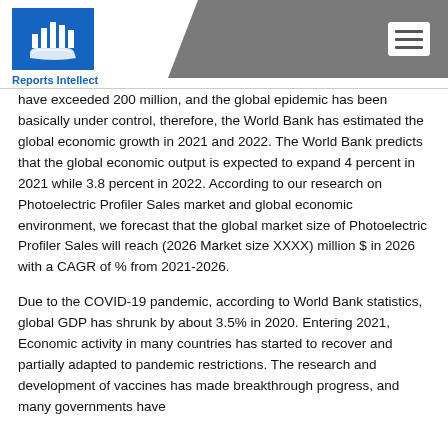Reports Intellect
have exceeded 200 million, and the global epidemic has been basically under control, therefore, the World Bank has estimated the global economic growth in 2021 and 2022. The World Bank predicts that the global economic output is expected to expand 4 percent in 2021 while 3.8 percent in 2022. According to our research on Photoelectric Profiler Sales market and global economic environment, we forecast that the global market size of Photoelectric Profiler Sales will reach (2026 Market size XXXX) million $ in 2026 with a CAGR of % from 2021-2026.
Due to the COVID-19 pandemic, according to World Bank statistics, global GDP has shrunk by about 3.5% in 2020. Entering 2021, Economic activity in many countries has started to recover and partially adapted to pandemic restrictions. The research and development of vaccines has made breakthrough progress, and many governments have